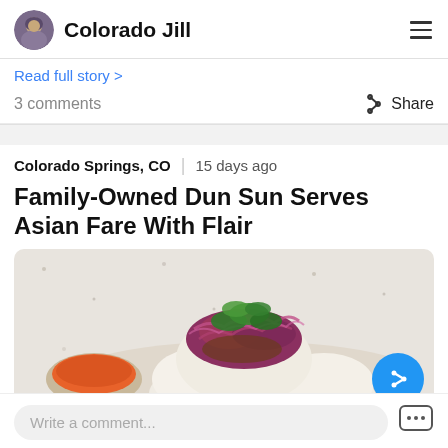Colorado Jill
Read full story >
3 comments
Share
Colorado Springs, CO  |  15 days ago
Family-Owned Dun Sun Serves Asian Fare With Flair
[Figure (photo): Food photo showing an Asian bao bun filled with pulled meat, topped with pickled red onions and fresh cilantro, served on a cream-colored tray with a small bowl of orange dipping sauce.]
Write a comment...